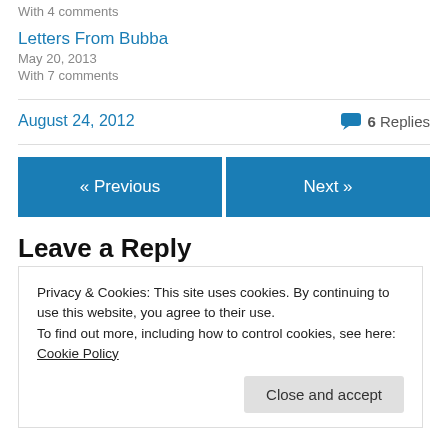With 4 comments
Letters From Bubba
May 20, 2013
With 7 comments
August 24, 2012
6 Replies
« Previous
Next »
Leave a Reply
Privacy & Cookies: This site uses cookies. By continuing to use this website, you agree to their use.
To find out more, including how to control cookies, see here: Cookie Policy
Close and accept